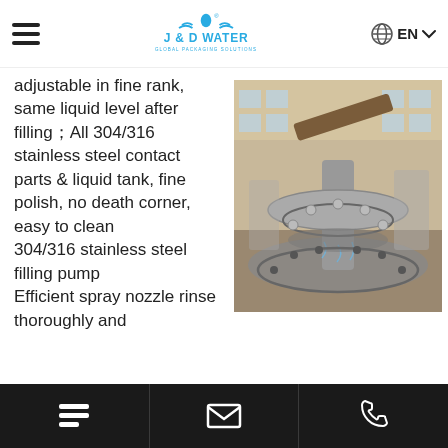J & D WATER — GLOBAL PACKAGING SOLUTIONS (EN)
adjustable in fine rank, same liquid level after filling；All 304/316 stainless steel contact parts & liquid tank, fine polish, no death corner, easy to clean
304/316 stainless steel filling pump
Efficient spray nozzle rinse thoroughly and
[Figure (photo): Industrial water filling machine in a factory — rotating carousel filler with stainless steel components and bottles, water splashing, large industrial hall visible in background]
Navigation footer with menu, email, and phone icons